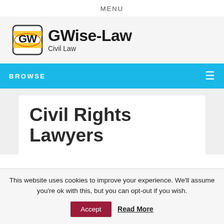MENU
[Figure (logo): GWise-Law Civil Law logo with GW icon badge and bold text]
BROWSE
Civil Rights Lawyers
This website uses cookies to improve your experience. We'll assume you're ok with this, but you can opt-out if you wish. Accept  Read More